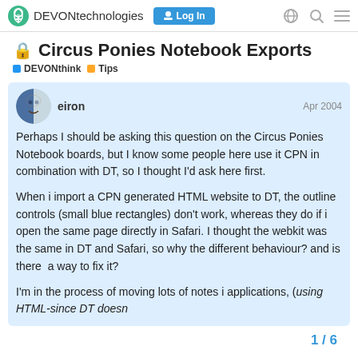DEVONtechnologies  Log In
🔒 Circus Ponies Notebook Exports
DEVOnthink  Tips
eiron  Apr 2004
Perhaps I should be asking this question on the Circus Ponies Notebook boards, but I know some people here use it CPN in combination with DT, so I thought I'd ask here first.

When i import a CPN generated HTML website to DT, the outline controls (small blue rectangles) don't work, whereas they do if i open the same page directly in Safari. I thought the webkit was the same in DT and Safari, so why the different behaviour? and is there  a way to fix it?

I'm in the process of moving lots of notes i applications, (using HTML-since DT doesn
1 / 6